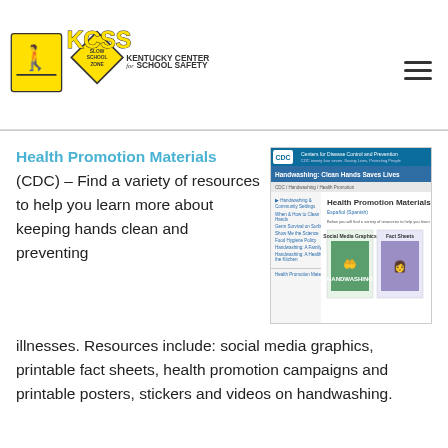[Figure (logo): Kentucky Center for School Safety (KCSS) logo with school crossing sign and yellow diamond SLOW SCHOOL ZONE sign]
Health Promotion Materials (CDC) – Find a variety of resources to help you learn more about keeping hands clean and preventing illnesses. Resources include: social media graphics, printable fact sheets, health promotion campaigns and printable posters, stickers and videos on handwashing.
[Figure (screenshot): Screenshot of CDC Health Promotion Materials webpage showing handwashing resources including social media graphics and fact sheets]